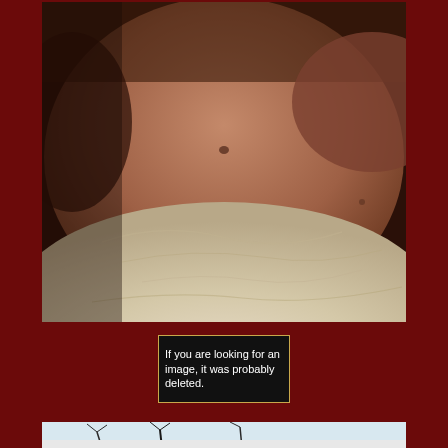[Figure (photo): A close-up photograph of a person's torso/midsection lying on white bedding, with a dark red background surrounding the image frame.]
If you are looking for an image, it was probably deleted.
[Figure (photo): Partial view of another photograph at the bottom of the page, showing what appears to be an outdoor scene with bare tree branches.]